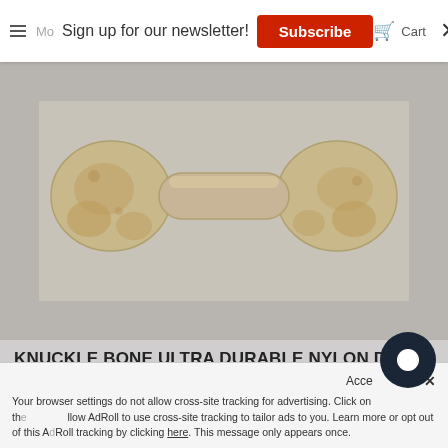Sign up for our newsletter! Subscribe
[Figure (photo): A brown nylon dog chew toy shaped like a knuckle bone, photographed on a light gray/beige background.]
KNUCKLE BONE ULTRA DURABLE NYLON DOG CHEW TOY FOR AGGRESSIVE CHEWERS - BROWN
$12.99
Your browser settings do not allow cross-site tracking for advertising. Click on the link to allow AdRoll to use cross-site tracking to tailor ads to you. Learn more or opt out of this AdRoll tracking by clicking here. This message only appears once.